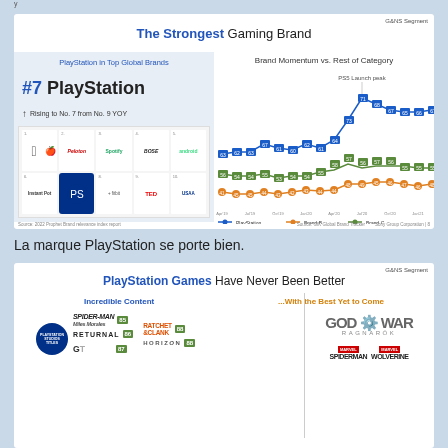[Figure (infographic): Sony PlayStation brand strength infographic showing #7 ranking in Top Global Brands and Brand Momentum vs Rest of Category line chart with PlayStation, Brand B, Brand C lines]
La marque PlayStation se porte bien.
[Figure (infographic): PlayStation Games Have Never Been Better infographic showing Incredible Content (Spider-Man, Ratchet & Clank, Returnal, Horizon) and With the Best Yet to Come (God of War Ragnarok, Marvel games)]